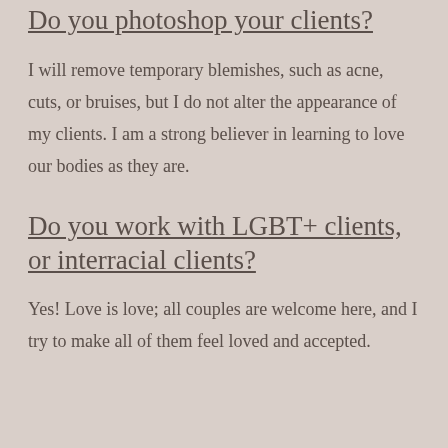Do you photoshop your clients?
I will remove temporary blemishes, such as acne, cuts, or bruises, but I do not alter the appearance of my clients. I am a strong believer in learning to love our bodies as they are.
Do you work with LGBT+ clients, or interracial clients?
Yes! Love is love; all couples are welcome here, and I try to make all of them feel loved and accepted.